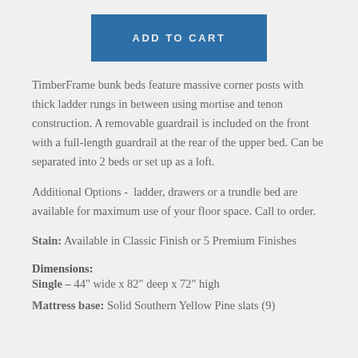[Figure (other): Blue 'ADD TO CART' button]
TimberFrame bunk beds feature massive corner posts with thick ladder rungs in between using mortise and tenon construction. A removable guardrail is included on the front with a full-length guardrail at the rear of the upper bed. Can be separated into 2 beds or set up as a loft.
Additional Options - ladder, drawers or a trundle bed are available for maximum use of your floor space. Call to order.
Stain: Available in Classic Finish or 5 Premium Finishes
Dimensions:
Single - 44" wide x 82" deep x 72" high
Mattress base: Solid Southern Yellow Pine slats (9)